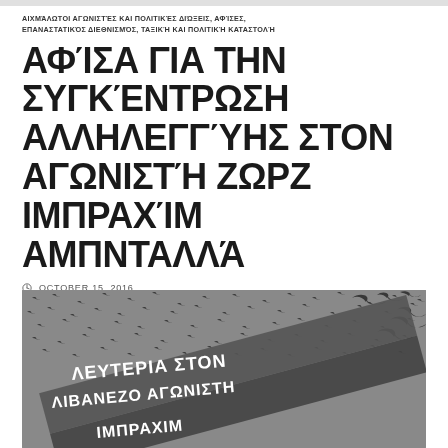ΑΙΧΜΆΛΩΤΟΙ ΑΓΩΝΙΣΤΈΣ ΚΑΙ ΠΟΛΙΤΙΚΈΣ ΔΙΏΞΕΙΣ, ΑΦΊΣΕΣ, ΕΠΑΝΑΣΤΑΤΙΚΌΣ ΔΙΕΘΝΙΣΜΌΣ, ΤΑΞΙΚΉ ΚΑΙ ΠΟΛΙΤΙΚΉ ΚΑΤΑΣΤΟΛΉ
ΑΦΊΣΑ ΓΙΑ ΤΗΝ ΣΥΓΚΈΝΤΡΩΣΗ ΑΛΛΗΛΕΓΓΎΗΣ ΣΤΟΝ ΑΓΩΝΙΣΤΉ ΖΩΡΖ ΙΜΠΡΑΧΊΜ ΑΜΠΝΤΑΛΛΆ
OCTOBER 15, 2016
[Figure (photo): Poster with grey background covered in small black bird silhouettes, with Greek text 'ΛΕΥΤΕΡΙΑ ΣΤΟΝ ΛΙΒΑΝΕΖΟ ΑΓΩΝΙΣΤΗ ΙΜΠΡΑΧΙΜ' in bold white/light lettering on a diagonal banner]